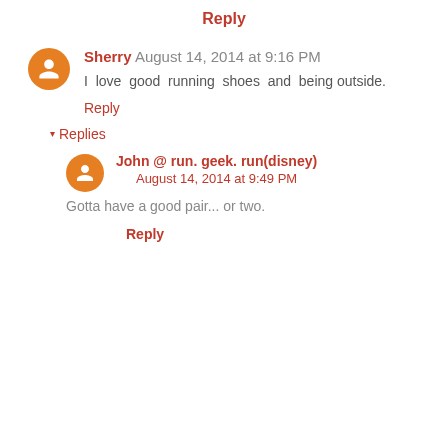Reply
Sherry August 14, 2014 at 9:16 PM
I love good running shoes and being outside.
Reply
▾ Replies
John @ run. geek. run(disney) August 14, 2014 at 9:49 PM
Gotta have a good pair... or two.
Reply